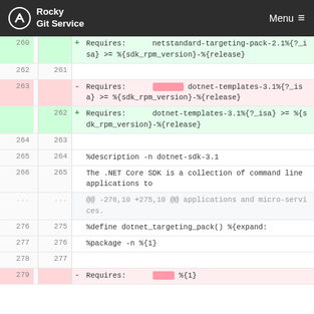Rocky Git Service  Menu
260  + Requires:       netstandard-targeting-pack-2.1%{?_isa} >= %{sdk_rpm_version}-%{release}
262 261  (blank)
263   - Requires:       [highlight] dotnet-templates-3.1%{?_isa} >= %{sdk_rpm_version}-%{release}
262  + Requires:       dotnet-templates-3.1%{?_isa} >= %{sdk_rpm_version}-%{release}
264 263  (blank)
265 264  %description -n dotnet-sdk-3.1
266 265  The .NET Core SDK is a collection of command line applications to
... ...  @@ -276,10 +275,10 @@ applications and micro-services.
276 275  %define dotnet_targeting_pack() %{expand:
277 276  %package -n %{1}
278 277  (blank)